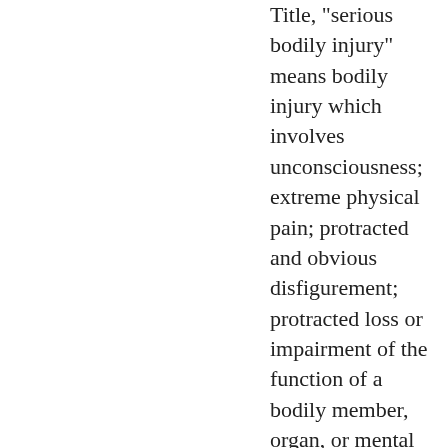Title, "serious bodily injury" means bodily injury which involves unconsciousness; extreme physical pain; protracted and obvious disfigurement; protracted loss or impairment of the function of a bodily member, organ, or mental faculty; or a substantial risk of death. For purposes of R.S. 14:403, "serious bodily injury" shall also include injury resulting from starvation or malnutrition. Amended by Acts 1962, No.